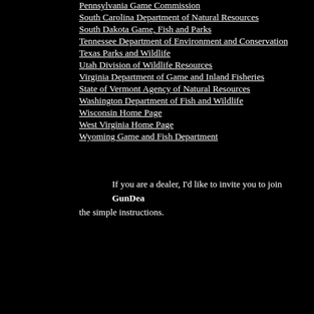Pennsylvania Game Commission
South Carolina Department of Natural Resources
South Dakota Game, Fish and Parks
Tennessee Department of Environment and Conservation
Texas Parks and Wildlife
Utah Division of Wildlife Resources
Virginia Department of Game and Inland Fisheries
State of Vermont Agency of Natural Resources
Washington Department of Fish and Wildlife
Wisconsin Home Page
West Virginia Home Page
Wyoming Game and Fish Department
If you are a dealer, I'd like to invite you to join GunDea... the simple instructions.